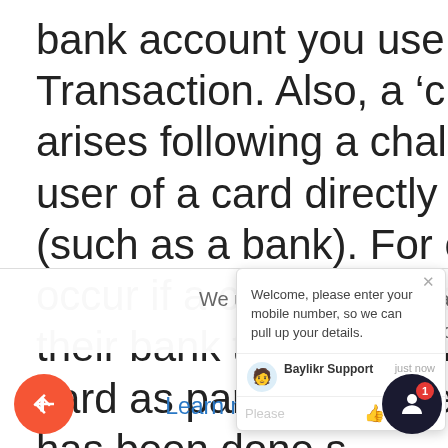bank account you use to fund your Transaction. Also, a 'chargeback fee' arises following a challenge made by a user of a card directly to their card issuer (such as a bank). For example, this may occur if a card user makes a claim to their bank that a payment made on that card as part of the use of our Service has been done s[...] illegitimately and then that card iss[...]
We use cookies to provide and improve our servic[...] By using our site, you consent to cookies[...]
Learn more